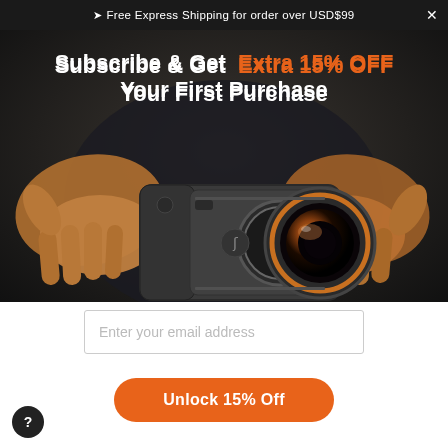➤ Free Express Shipping for order over USD$99
Subscribe & Get Extra 15% OFF Your First Purchase
[Figure (photo): Person holding a smartphone camera case with an attached wide-angle lens, shown from chest down, wearing a dark shirt. The device is a portable camera grip/case accessory with a prominent lens attachment.]
Enter your email address
Unlock 15% Off